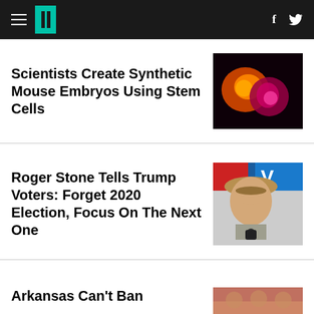HuffPost navigation bar with hamburger menu, logo, Facebook and Twitter icons
Scientists Create Synthetic Mouse Embryos Using Stem Cells
[Figure (photo): Glowing fluorescent mouse embryo image with orange and pink/magenta colors against dark background]
Roger Stone Tells Trump Voters: Forget 2020 Election, Focus On The Next One
[Figure (photo): Roger Stone speaking at microphone, wearing light-colored suit and panama hat, with red, white and blue banner in background]
Arkansas Can't Ban
[Figure (photo): Partially visible image showing warm-toned interior scene]